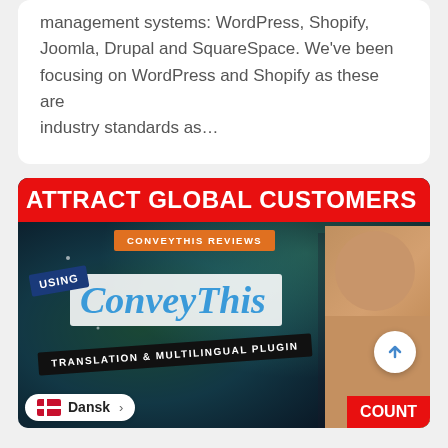management systems: WordPress, Shopify, Joomla, Drupal and SquareSpace. We've been focusing on WordPress and Shopify as these are industry standards as...
[Figure (screenshot): Screenshot of a webpage showing a thumbnail image with red banner text 'ATTRACT GLOBAL CUSTOMERS', orange badge 'CONVEYTHIS REVIEWS', 'USING' tag, ConveyThis translation plugin logo in italic blue text, black banner 'TRANSLATION & MULTILINGUAL PLUGIN', a woman's face on the right, scroll-up button, language selector pill showing Danish (Dansk) flag, and COUNT text in red at bottom right.]